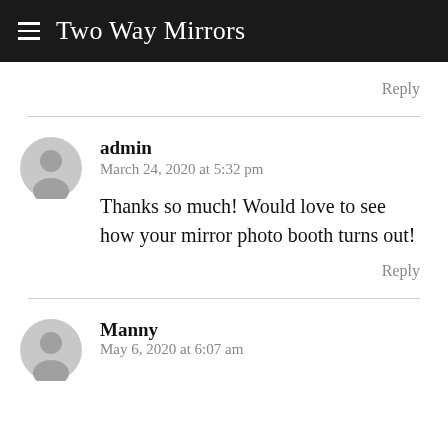Two Way Mirrors
Reply
admin
March 24, 2020 at 5:32 pm

Thanks so much! Would love to see how your mirror photo booth turns out!
Reply
Manny
May 6, 2020 at 6:07 am